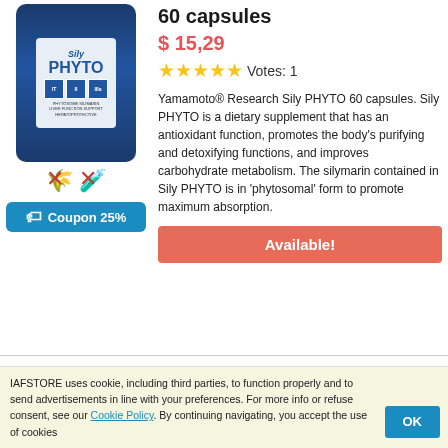60 capsules
$ 15,29
★★★★★ Votes: 1
Yamamoto® Research Sily PHYTO 60 capsules. Sily PHYTO is a dietary supplement that has an antioxidant function, promotes the body's purifying and detoxifying functions, and improves carbohydrate metabolism. The silymarin contained in Sily PHYTO is in 'phytosomal' form to promote maximum absorption.
Available!
Coupon 25%
[Figure (photo): Sily PHYTO supplement bottle in blue packaging with white label]
ALPHAZER
Epavid® 30 Tablets
$ 13,25
[Figure (photo): Alphazer Epavid product box, white with green stripe]
IAFSTORE uses cookie, including third parties, to function properly and to send advertisements in line with your preferences. For more info or refuse consent, see our Cookie Policy. By continuing navigating, you accept the use of cookies